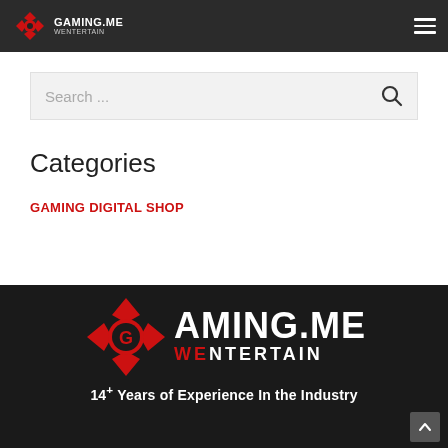[Figure (logo): Gaming.ME WEntertain logo in navigation bar — dark background with red/white star icon and text]
[Figure (logo): Hamburger menu icon (three horizontal lines) in top right of navigation bar]
Search ...
Categories
GAMING DIGITAL SHOP
[Figure (logo): Large Gaming.ME WEntertain logo on dark background with red winged star emblem]
14+ Years of Experience In the Industry